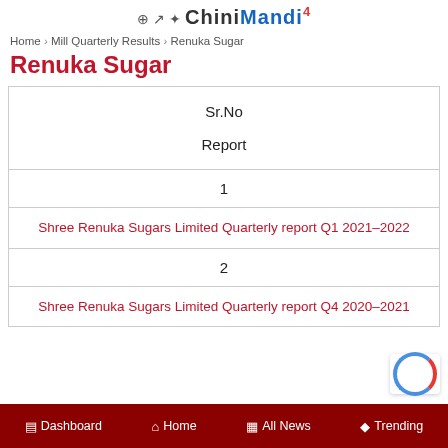ChiniMandi
Home › Mill Quarterly Results › Renuka Sugar
Renuka Sugar
| Sr.No | Report |
| --- | --- |
| 1 | Shree Renuka Sugars Limited Quarterly report Q1 2021-2022 |
| 2 | Shree Renuka Sugars Limited Quarterly report Q4 2020-2021 |
Dashboard  Home  All News  Trending